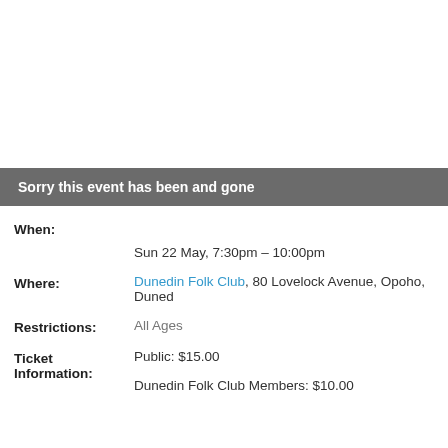Sorry this event has been and gone
When:
Sun 22 May, 7:30pm – 10:00pm
Where: Dunedin Folk Club, 80 Lovelock Avenue, Opoho, Dunedin
Restrictions: All Ages
Ticket Information: Public: $15.00
Dunedin Folk Club Members: $10.00